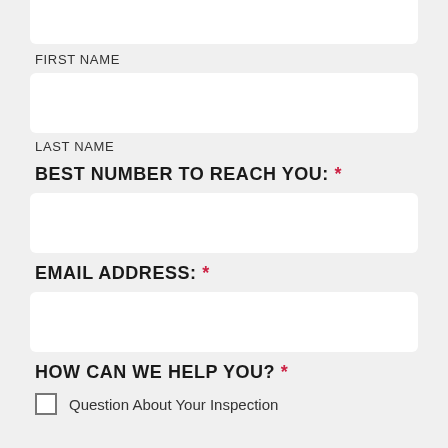[input field - top, partially visible]
FIRST NAME
[input field - first name]
LAST NAME
BEST NUMBER TO REACH YOU: *
[input field - phone]
EMAIL ADDRESS: *
[input field - email]
HOW CAN WE HELP YOU? *
Question About Your Inspection